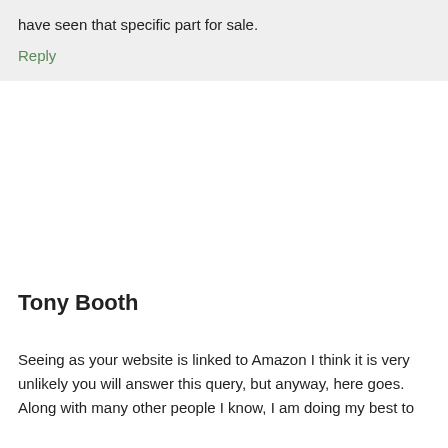have seen that specific part for sale.
Reply
Tony Booth
Seeing as your website is linked to Amazon I think it is very unlikely you will answer this query, but anyway, here goes. Along with many other people I know, I am doing my best to